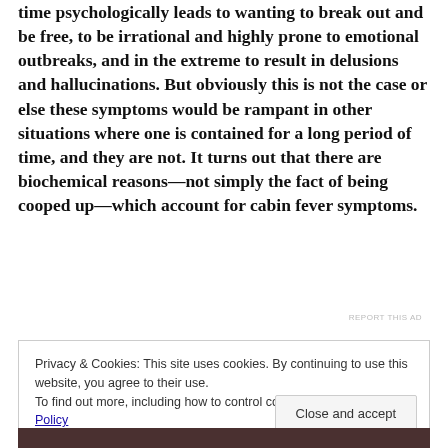time psychologically leads to wanting to break out and be free, to be irrational and highly prone to emotional outbreaks, and in the extreme to result in delusions and hallucinations. But obviously this is not the case or else these symptoms would be rampant in other situations where one is contained for a long period of time, and they are not. It turns out that there are biochemical reasons—not simply the fact of being cooped up—which account for cabin fever symptoms.
REPORT THIS AD
Privacy & Cookies: This site uses cookies. By continuing to use this website, you agree to their use.
To find out more, including how to control cookies, see here: Cookie Policy
Close and accept
[Figure (photo): Partial photo strip visible at bottom of page, dark reddish tones]